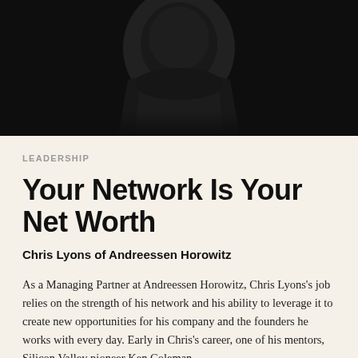[Figure (photo): Dark moody photograph of a person wearing dark clothing against a near-black background, cropped to show torso/clothing]
LEADERSHIP
Your Network Is Your Net Worth
Chris Lyons of Andreessen Horowitz
As a Managing Partner at Andreessen Horowitz, Chris Lyons's job relies on the strength of his network and his ability to leverage it to create new opportunities for his company and the founders he works with every day. Early in Chris's career, one of his mentors, Silicon Valley pioneer Ken Coleman